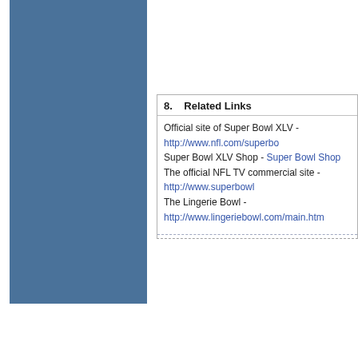[Figure (illustration): Blue rectangular sidebar on the left side of the page]
8.   Related Links
Official site of Super Bowl XLV - http://www.nfl.com/superbo
Super Bowl XLV Shop - Super Bowl Shop
The official NFL TV commercial site - http://www.superbowl
The Lingerie Bowl - http://www.lingeriebowl.com/main.htm